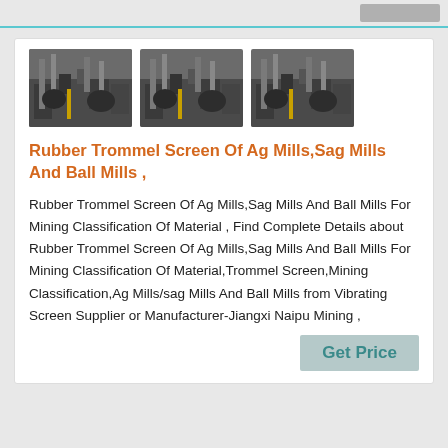[Figure (photo): Three identical photos of industrial mining mill machinery showing pipes and mechanical components]
Rubber Trommel Screen Of Ag Mills,Sag Mills And Ball Mills ,
Rubber Trommel Screen Of Ag Mills,Sag Mills And Ball Mills For Mining Classification Of Material , Find Complete Details about Rubber Trommel Screen Of Ag Mills,Sag Mills And Ball Mills For Mining Classification Of Material,Trommel Screen,Mining Classification,Ag Mills/sag Mills And Ball Mills from Vibrating Screen Supplier or Manufacturer-Jiangxi Naipu Mining ,
Get Price